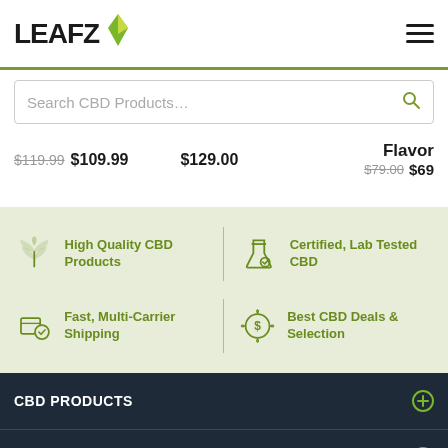[Figure (logo): LEAFZ logo with green cannabis leaf icon]
Search CBD Products…
$119.99 $109.99    $129.00    Flavor $79.00 $69
[Figure (infographic): Four feature boxes on green background: High Quality CBD Products (cannabis leaf icon), Certified Lab Tested CBD (flask icon), Fast Multi-Carrier Shipping (box icon), Best CBD Deals & Selection (dollar badge icon)]
CBD PRODUCTS
CBD RESOURCES